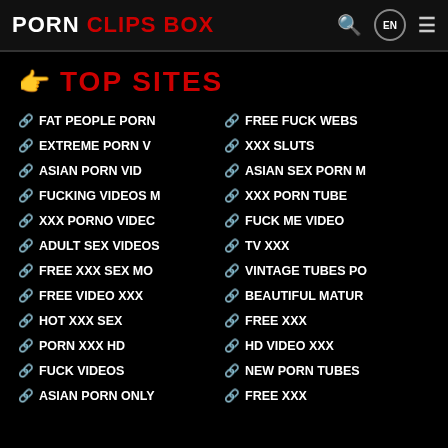PORN CLIPS BOX
👆 TOP SITES
FAT PEOPLE PORN
FREE FUCK WEBSITES
EXTREME PORN V
XXX SLUTS
ASIAN PORN VID
ASIAN SEX PORN M
FUCKING VIDEOS M
XXX PORN TUBE
XXX PORNO VIDEOC
FUCK ME VIDEO
ADULT SEX VIDEOS
TV XXX
FREE XXX SEX MO
VINTAGE TUBES PO
FREE VIDEO XXX
BEAUTIFUL MATURE
HOT XXX SEX
FREE XXX
PORN XXX HD
HD VIDEO XXX
FUCK VIDEOS
NEW PORN TUBES
ASIAN PORN ONLY
FREE XXX